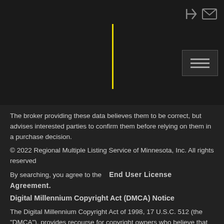[Navigation header with login icon, mail icon, yellow vertical bar, and hamburger menu button]
The broker providing these data believes them to be correct, but advises interested parties to confirm them before relying on them in a purchase decision.
© 2022 Regional Multiple Listing Service of Minnesota, Inc. All rights reserved
By searching, you agree to the   End User License Agreement.
Digital Millennium Copyright Act (DMCA) Notice
The Digital Millennium Copyright Act of 1998, 17 U.S.C. 512 (the "DMCA"), provides recourse for copyright owners who believe that material appearing on the Internet infringes their rights under U.S. copyright law. If you believe in good faith that any content or material made available in connection with our website or services infringes your copyright, you (or your agent) may send